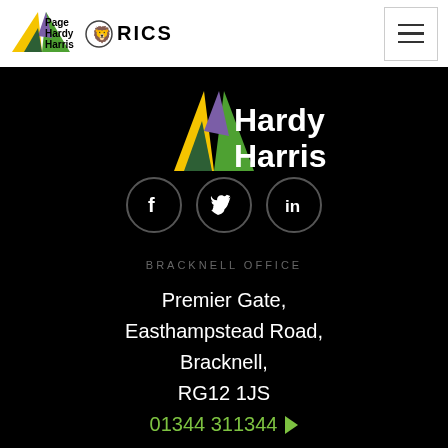[Figure (logo): Page Hardy Harris logo with colourful geometric triangles and text, alongside RICS lion logo and hamburger menu button in white header bar]
[Figure (logo): Page Hardy Harris large brand logo (Hardy Harris text with coloured triangle shapes) on black background at top of footer section]
[Figure (infographic): Three circular social media icons: Facebook (f), Twitter (bird), LinkedIn (in) on black background]
BRACKNELL OFFICE
Premier Gate,
Easthampstead Road,
Bracknell,
RG12 1JS
01344 311344 ▶